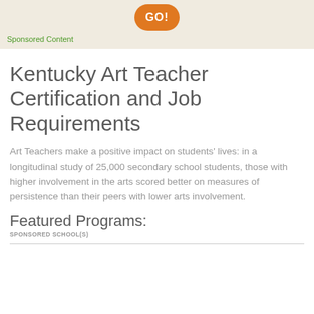[Figure (other): Orange rounded GO! button on a beige/tan background banner]
Sponsored Content
Kentucky Art Teacher Certification and Job Requirements
Art Teachers make a positive impact on students' lives: in a longitudinal study of 25,000 secondary school students, those with higher involvement in the arts scored better on measures of persistence than their peers with lower arts involvement.
Featured Programs:
SPONSORED SCHOOL(S)